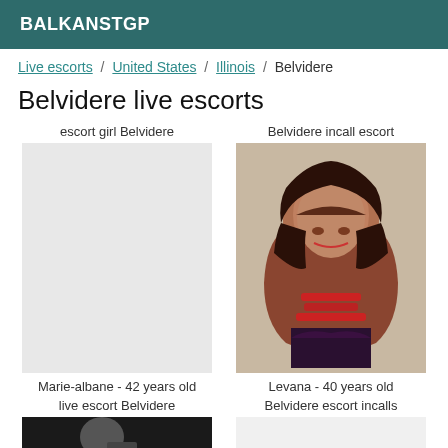BALKANSTGP
Live escorts / United States / Illinois / Belvidere
Belvidere live escorts
escort girl Belvidere
Belvidere incall escort
[Figure (photo): Photo placeholder for escort listing]
[Figure (photo): Photo of Levana, a woman with dark curly hair and red beaded necklace]
Marie-albane - 42 years old
Levana - 40 years old
live escort Belvidere
Belvidere escort incalls
[Figure (photo): Black and white photo of escort listing]